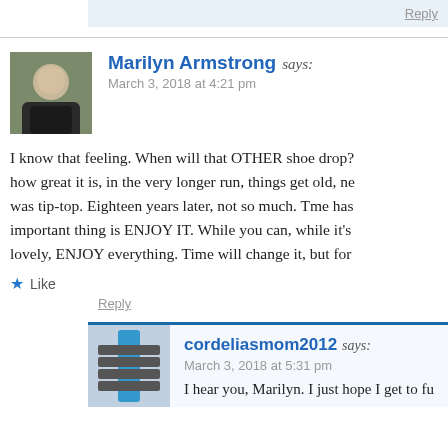Reply
Marilyn Armstrong says: March 3, 2018 at 4:21 pm
I know that feeling. When will that OTHER shoe drop? how great it is, in the very longer run, things get old, ne... was tip-top. Eighteen years later, not so much. Tme has... important thing is ENJOY IT. While you can, while it's... lovely, ENJOY everything. Time will change it, but for...
Like
Reply
cordeliasmom2012 says: March 3, 2018 at 5:31 pm
I hear you, Marilyn. I just hope I get to ful...